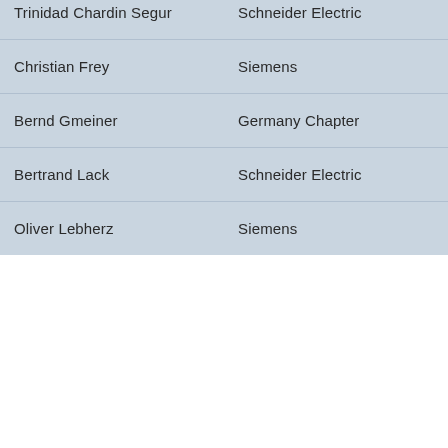| Name | Organization |
| --- | --- |
| Trinidad Chardin Segur | Schneider Electric |
| Christian Frey | Siemens |
| Bernd Gmeiner | Germany Chapter |
| Bertrand Lack | Schneider Electric |
| Oliver Lebherz | Siemens |